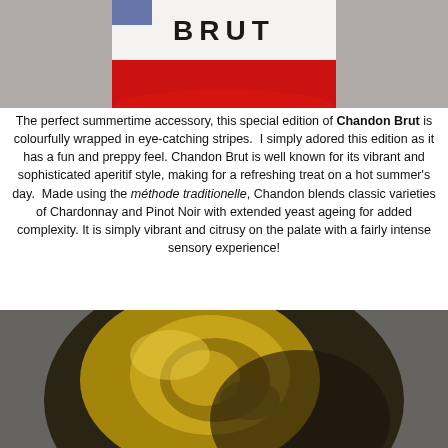[Figure (photo): Close-up of a Chandon Brut sparkling wine bottle showing white label with 'BRUT' text and red stripe/band around the bottom of the label, set against a grey background.]
The perfect summertime accessory, this special edition of Chandon Brut is colourfully wrapped in eye-catching stripes. I simply adored this edition as it has a fun and preppy feel. Chandon Brut is well known for its vibrant and sophisticated aperitif style, making for a refreshing treat on a hot summer's day. Made using the méthode traditionelle, Chandon blends classic varieties of Chardonnay and Pinot Noir with extended yeast ageing for added complexity. It is simply vibrant and citrusy on the palate with a fairly intense sensory experience!
[Figure (photo): Close-up macro photograph of a wine bottle cork or capsule showing metallic gold and dark swirling textures, viewed from above.]